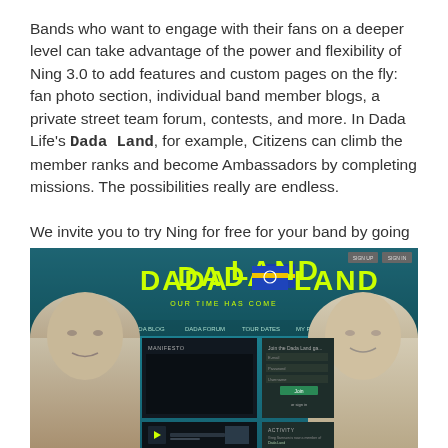Bands who want to engage with their fans on a deeper level can take advantage of the power and flexibility of Ning 3.0 to add features and custom pages on the fly: fan photo section, individual band member blogs, a private street team forum, contests, and more. In Dada Life's Dada Land, for example, Citizens can climb the member ranks and become Ambassadors by completing missions. The possibilities really are endless.

We invite you to try Ning for free for your band by going to www.ning.com/bandpage.
[Figure (screenshot): Screenshot of Dada Land website showing the Dada Land logo with two bald men on either side, navigation menu, and a dark-themed content area with a manifest section and sign-up form.]